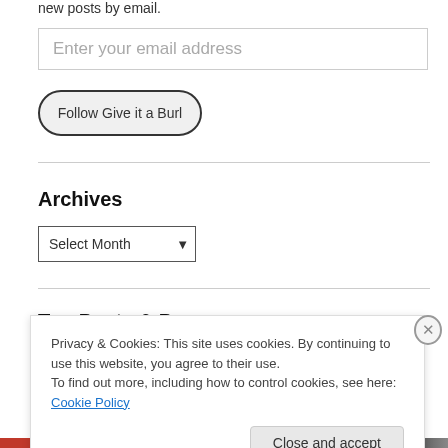new posts by email.
Enter your email address
Follow Give it a Burl
Archives
Select Month
Top Posts & Pages
Privacy & Cookies: This site uses cookies. By continuing to use this website, you agree to their use.
To find out more, including how to control cookies, see here: Cookie Policy
Close and accept